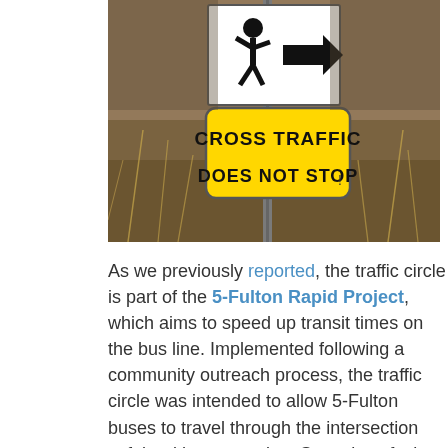[Figure (photo): A road sign mounted on a pole reading 'CROSS TRAFFIC DOES NOT STOP' in black text on a yellow background, with a white pedestrian/bicycle crossing sign above it. The background shows dirt and dried grass.]
As we previously reported, the traffic circle is part of the 5-Fulton Rapid Project, which aims to speed up transit times on the bus line. Implemented following a community outreach process, the traffic circle was intended to allow 5-Fulton buses to travel through the intersection safely without stopping. Stop signs facing McAllister Street were also removed.
SFMTA now plans to re-install stop signs on McAllister Street, then remove the traffic circle. Although no date for the removal has been officially announced, Kato said it will happen as